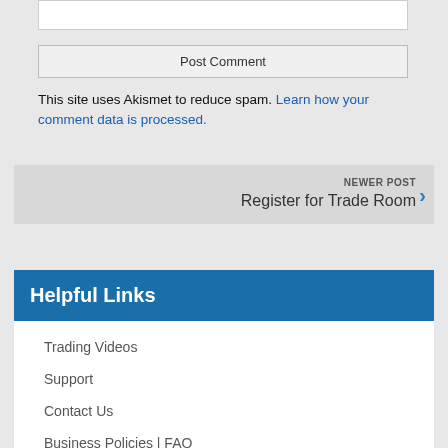[Figure (other): Text input area (textarea) at the top of the page]
Post Comment
This site uses Akismet to reduce spam. Learn how your comment data is processed.
NEWER POST
Register for Trade Room
Helpful Links
Trading Videos
Support
Contact Us
Business Policies | FAQ